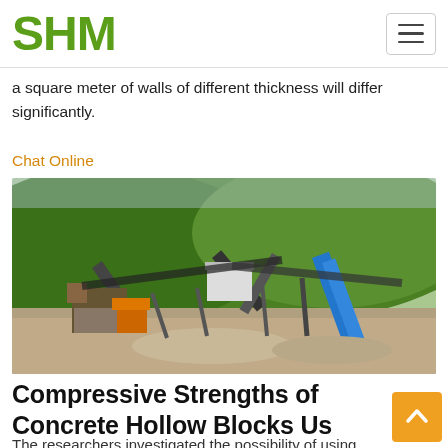SHM
a square meter of walls of different thickness will differ significantly.
Chat Online
[Figure (photo): Outdoor industrial aggregate crushing and conveyor plant with green hillside in background]
Compressive Strengths of Concrete Hollow Blocks Us
The researchers investigated the possibility of using